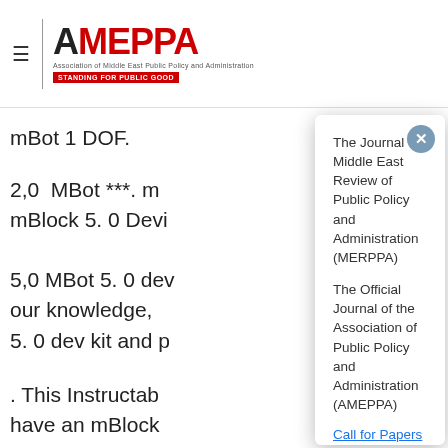AMEPPA — Association of Middle East Public Policy and Administration
mBot 1 DOF.
2,0  MBot ***. m mBlock 5. 0 Devi
5,0 MBot 5. 0 dev our knowledge, 5. 0 dev kit and p
. This Instructab have an mBlock instructions bef
De Buurkoloneli
MBoton is regist https://easytipsf content/uploads/2022/ ourEfficientDialyNetworkpar
The Journal of Middle East Review of Public Policy and Administration (MERPPA)
The Official Journal of the Association of Public Policy and Administration (AMEPPA)
Call for Papers
Special Issue: Understanding History, Negotiating Policy and Administration, and Moving Forward
Submit your Paper by March 30th, 2022